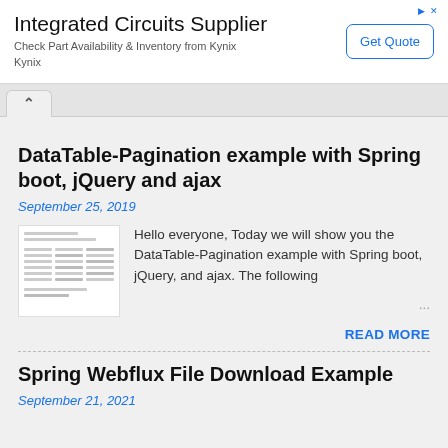[Figure (other): Advertisement banner for Integrated Circuits Supplier (Kynix) with a Get Quote button]
DataTable-Pagination example with Spring boot, jQuery and ajax
September 25, 2019
[Figure (screenshot): Thumbnail image of a document/webpage showing tabular data]
Hello everyone, Today we will show you the DataTable-Pagination example with Spring boot, jQuery, and ajax. The following ...
READ MORE
Spring Webflux File Download Example
September 21, 2021